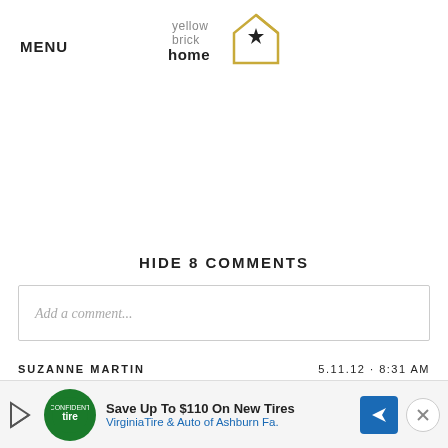MENU
[Figure (logo): Yellow Brick Home logo with house outline and star, text reads 'yellow brick home']
HIDE 8 COMMENTS
Add a comment...
SUZANNE MARTIN
5.11.12 · 8:31 AM
I w...
[Figure (infographic): Advertisement bar: Save Up To $110 On New Tires — VirginiaTire & Auto of Ashburn Fa.]